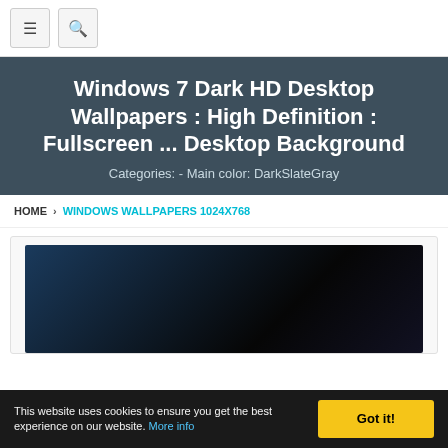≡ [menu button] 🔍 [search button]
Windows 7 Dark HD Desktop Wallpapers : High Definition : Fullscreen ... Desktop Background
Categories: - Main color: DarkSlateGray
HOME › WINDOWS WALLPAPERS 1024X768
[Figure (photo): Dark desktop wallpaper thumbnail with dark blue-to-black gradient background]
This website uses cookies to ensure you get the best experience on our website. More info